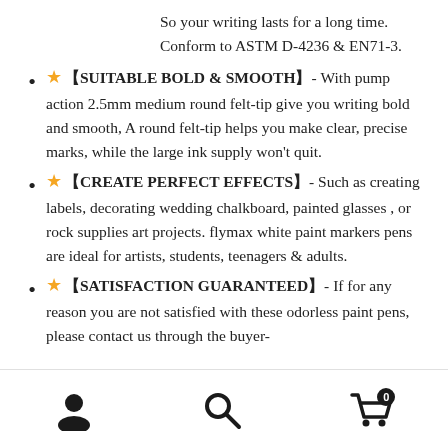So your writing lasts for a long time. Conform to ASTM D-4236 & EN71-3.
⭐ 【SUITABLE BOLD & SMOOTH】- With pump action 2.5mm medium round felt-tip give you writing bold and smooth, A round felt-tip helps you make clear, precise marks, while the large ink supply won't quit.
⭐ 【CREATE PERFECT EFFECTS】- Such as creating labels, decorating wedding chalkboard, painted glasses , or rock supplies art projects. flymax white paint markers pens are ideal for artists, students, teenagers & adults.
⭐ 【SATISFACTION GUARANTEED】- If for any reason you are not satisfied with these odorless paint pens, please contact us through the buyer-
User icon | Search icon | Cart icon with badge 0